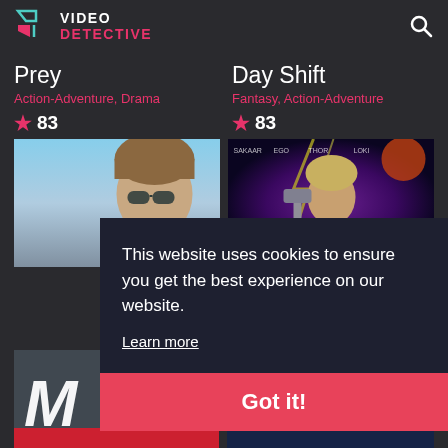VIDEO DETECTIVE
Prey
Action-Adventure, Drama
★ 83
Day Shift
Fantasy, Action-Adventure
★ 83
[Figure (photo): Movie poster for Prey showing a man in sunglasses]
[Figure (photo): Movie poster for Day Shift showing superhero characters]
This website uses cookies to ensure you get the best experience on our website.
Learn more
Got it!